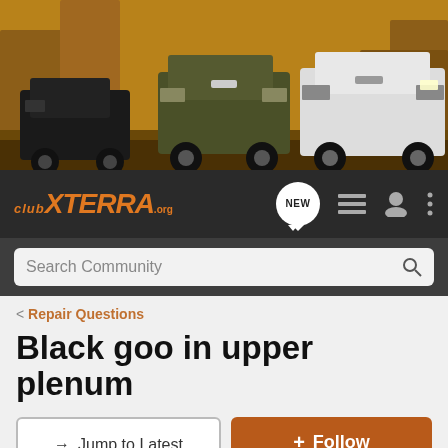[Figure (photo): Banner with three Nissan Xterra SUVs on rocky terrain]
clubXTERRA.org — NEW navigation icons
Search Community
< Repair Questions
Black goo in upper plenum
→ Jump to Latest
+ Follow
1 - 5 of 5 Posts
clunker · Registered
Joined Jan 3, 2016 · 102 Posts